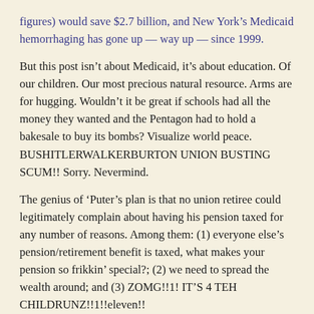figures) would save $2.7 billion, and New York's Medicaid hemorrhaging has gone up — way up — since 1999.
But this post isn't about Medicaid, it's about education. Of our children. Our most precious natural resource. Arms are for hugging. Wouldn't it be great if schools had all the money they wanted and the Pentagon had to hold a bakesale to buy its bombs? Visualize world peace. BUSHITLERWALKERBURTON UNION BUSTING SCUM!! Sorry. Nevermind.
The genius of 'Puter's plan is that no union retiree could legitimately complain about having his pension taxed for any number of reasons. Among them: (1) everyone else's pension/retirement benefit is taxed, what makes your pension so frikkin' special?; (2) we need to spread the wealth around; and (3) ZOMG!!1! IT'S 4 TEH CHILDRUNZ!!1!!eleven!!